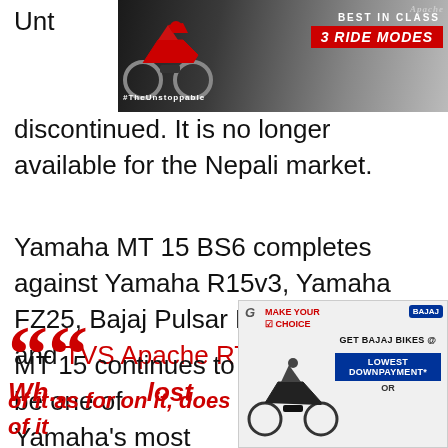[Figure (photo): TVS Apache motorcycle advertisement banner with text 'BEST IN CLASS 3 RIDE MODES' and '#TheUnstoppable', red and grey background with bike image]
Unt... discontinued. It is no longer available for the Nepali market.
Yamaha MT 15 BS6 completes against Yamaha R15v3, Yamaha FZ25, Bajaj Pulsar NS 200 ABS FI, and TVS Apache RTR 200 4V BS6.
MT 15 continues to be one of Yamaha’s most popular offerings. It offers a Grade A performance with unmatched reliability without any major compromises
[Figure (photo): Bajaj bikes advertisement: 'MAKE YOUR CHOICE - GET BAJAJ BIKES @ LOWEST DOWNPAYMENT* OR' with Bajaj bike image]
““ Wh... lost
of its offers on it, does of it...